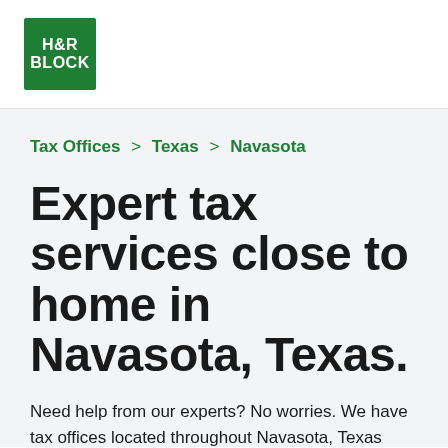[Figure (logo): H&R Block green square logo with white H&R BLOCK text]
Tax Offices > Texas > Navasota
Expert tax services close to home in Navasota, Texas.
Need help from our experts? No worries. We have tax offices located throughout Navasota, Texas